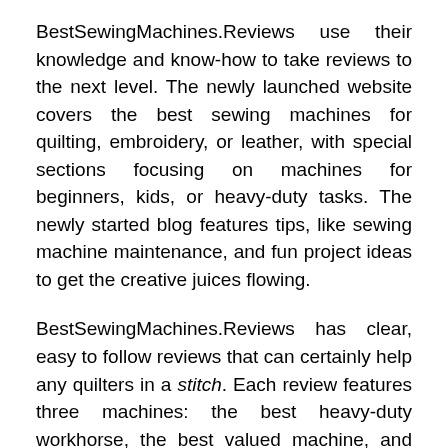BestSewingMachines.Reviews use their knowledge and know-how to take reviews to the next level. The newly launched website covers the best sewing machines for quilting, embroidery, or leather, with special sections focusing on machines for beginners, kids, or heavy-duty tasks. The newly started blog features tips, like sewing machine maintenance, and fun project ideas to get the creative juices flowing.
BestSewingMachines.Reviews has clear, easy to follow reviews that can certainly help any quilters in a stitch. Each review features three machines: the best heavy-duty workhorse, the best valued machine, and the best option for the quilter on a budget. The review for each machine is lengthy, but doesn't get bogged down in technical terminology, making it easy for the beginner to understand. Pros and cons are offered for each machine. The reviews themselves are frank and honest. These experts don't shy away from mentioning the cons of each machine in order to ensure that their audience gets the